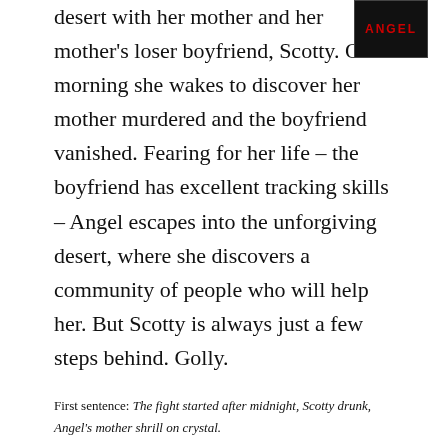desert with her mother and her mother's loser boyfriend, Scotty. One morning she wakes to discover her mother murdered and the boyfriend vanished. Fearing for her life – the boyfriend has excellent tracking skills – Angel escapes into the unforgiving desert, where she discovers a community of people who will help her. But Scotty is always just a few steps behind. Golly.
[Figure (photo): Book cover with red text 'ANGEL' on dark background]
First sentence: The fight started after midnight, Scotty drunk, Angel's mother shrill on crystal.
The Beginning of After, Jennifer Castle (425 pages) – Laurel's family is killed in a horrific car accident, caused by her
[Figure (photo): Book cover for The Beginning of After showing a person with auburn hair]